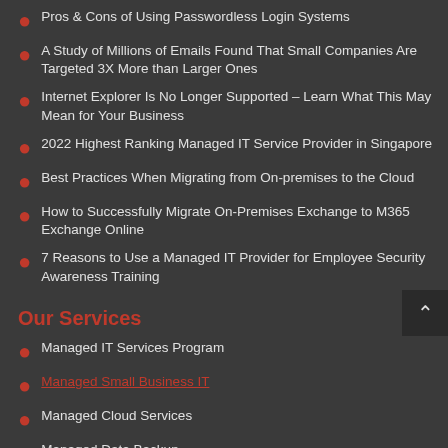Pros & Cons of Using Passwordless Login Systems
A Study of Millions of Emails Found That Small Companies Are Targeted 3X More than Larger Ones
Internet Explorer Is No Longer Supported – Learn What This May Mean for Your Business
2022 Highest Ranking Managed IT Service Provider in Singapore
Best Practices When Migrating from On-premises to the Cloud
How to Successfully Migrate On-Premises Exchange to M365 Exchange Online
7 Reasons to Use a Managed IT Provider for Employee Security Awareness Training
Our Services
Managed IT Services Program
Managed Small Business IT
Managed Cloud Services
Managed Data Backup